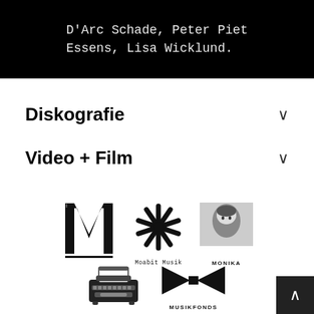D'Arc Schade, Peter Piet Essens, Lisa Wicklund.
Diskografie
Video + Film
[Figure (logo): Large letter M logo (typewriter-style bold serif)]
[Figure (logo): Moabit Musik star/asterisk logo with label text below]
[Figure (logo): MONIKA label logo with face portrait]
[Figure (logo): Typewriter illustration logo]
[Figure (logo): MUSIKFONDS logo with bowtie/double arrow shape]